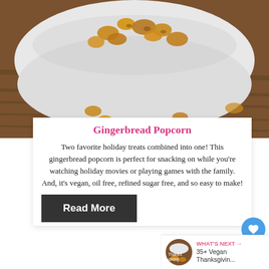[Figure (photo): Close-up photo of gingerbread popcorn in a white bowl on a wooden table, with popcorn scattered around the bowl.]
Gingerbread Popcorn
Two favorite holiday treats combined into one! This gingerbread popcorn is perfect for snacking on while you're watching holiday movies or playing games with the family. And, it's vegan, oil free, refined sugar free, and so easy to make!
Read More
[Figure (other): What's Next widget showing a thumbnail image and text: WHAT'S NEXT → 35+ Vegan Thanksgivin...]